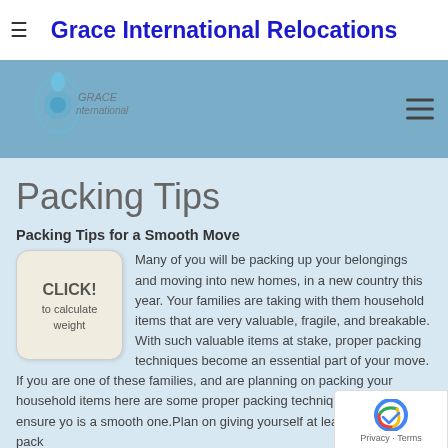Grace International Relocations
[Figure (screenshot): Website banner with logo of Grace International Relocations on a steel blue background with hamburger menu icon on the right]
Packing Tips
Packing Tips for a Smooth Move
[Figure (illustration): Button graphic with text: CLICK! to calculate weight]
Many of you will be packing up your belongings and moving into new homes, in a new country this year. Your families are taking with them household items that are very valuable, fragile, and breakable. With such valuable items at stake, proper packing techniques become an essential part of your move. If you are one of these families, and are planning on packing your household items here are some proper packing techniques that will ensure yo is a smooth one.Plan on giving yourself at least six weeks to pack